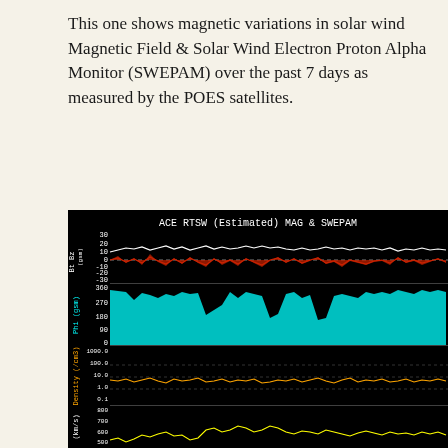This one shows magnetic variations in solar wind Magnetic Field & Solar Wind Electron Proton Alpha Monitor (SWEPAM) over the past 7 days as measured by the POES satellites.
[Figure (continuous-plot): ACE RTSW (Estimated) MAG & SWEPAM multi-panel plot on black background. Top panel: Bt (white) and Bz (red) in gsm ranging from -30 to +30. Second panel: Phi (gsm) in cyan ranging 0-360. Third panel: Density (/cm3) in orange, logarithmic scale 0.1-1000.0. Bottom panel (partial): Speed (km/s) in yellow, scale 500-800+.]